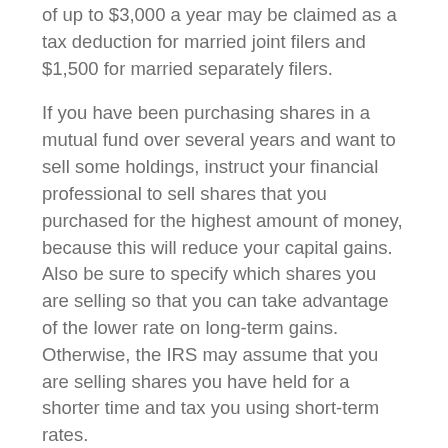of up to $3,000 a year may be claimed as a tax deduction for married joint filers and $1,500 for married separately filers.
If you have been purchasing shares in a mutual fund over several years and want to sell some holdings, instruct your financial professional to sell shares that you purchased for the highest amount of money, because this will reduce your capital gains. Also be sure to specify which shares you are selling so that you can take advantage of the lower rate on long-term gains. Otherwise, the IRS may assume that you are selling shares you have held for a shorter time and tax you using short-term rates.
Capital gains distributions for the prior year are reported to you by January 31, and any taxes owed on gains must be paid by the due date of your income tax return.
Higher-income taxpayers should be aware that they may be subject to an additional 3.8% Medicare